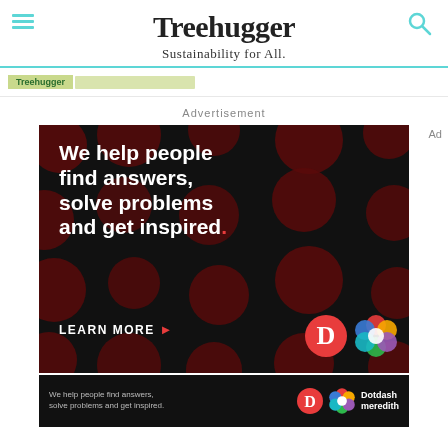Treehugger — Sustainability for All.
Advertisement
[Figure (illustration): Dotdash Meredith advertisement on black background with dark red polka dots. Large white bold text reads: We help people find answers, solve problems and get inspired. with a red period. Below: LEARN MORE with red arrow. Dotdash D logo in red circle and colorful Meredith flower logo at bottom right.]
[Figure (illustration): Bottom strip of the same Dotdash Meredith ad: white text 'We help people find answers, solve problems and get inspired.' with Dotdash D logo, colorful Meredith logo, and 'Dotdash meredith' text in white.]